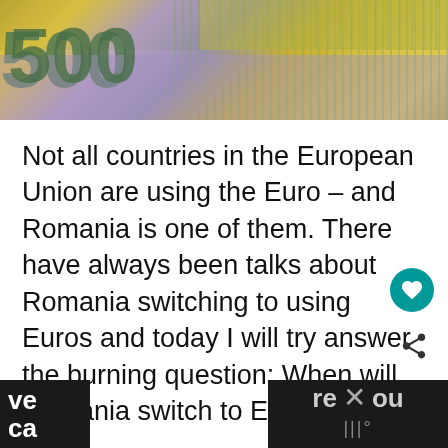[Figure (photo): Close-up photograph of Euro banknotes showing '500' text, purple/blue and yellow colored bills with lines and patterns]
Not all countries in the European Union are using the Euro – and Romania is one of them. There have always been talks about Romania switching to using Euros and today I will try answer the burning question: When will Romania switch to Euro?
I will start by saying something that will definitely surprise many people. There are ve... re... ou ca... ...